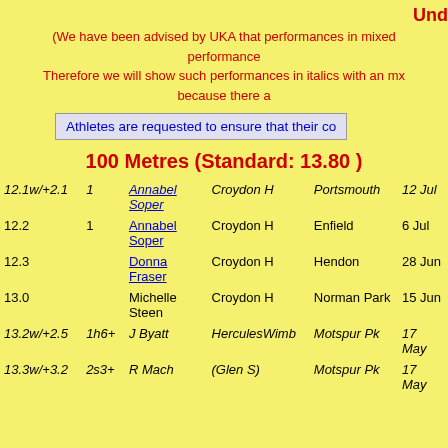Und
(We have been advised by UKA that performances in mixed performance Therefore we will show such performances in italics with an mx because there a
Athletes are requested to ensure that their co
100 Metres (Standard: 13.80 )
| Perf | Pos | Name | Club | Venue | Date |
| --- | --- | --- | --- | --- | --- |
| 12.1w/+2.1 | 1 | Annabel Soper | Croydon H | Portsmouth | 12 Jul |
| 12.2 | 1 | Annabel Soper | Croydon H | Enfield | 6 Jul |
| 12.3 |  | Donna Fraser | Croydon H | Hendon | 28 Jun |
| 13.0 |  | Michelle Steen | Croydon H | Norman Park | 15 Jun |
| 13.2w/+2.5 | 1h6+ | J Byatt | HerculesWimb | Motspur Pk | 17 May |
| 13.3w/+3.2 | 2s3+ | R Mach | (Glen S) | Motspur Pk | 17 May |